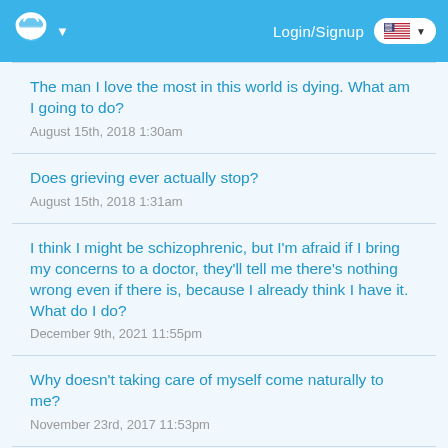Login/Signup
The man I love the most in this world is dying. What am I going to do?
August 15th, 2018 1:30am
Does grieving ever actually stop?
August 15th, 2018 1:31am
I think I might be schizophrenic, but I'm afraid if I bring my concerns to a doctor, they'll tell me there's nothing wrong even if there is, because I already think I have it. What do I do?
December 9th, 2021 11:55pm
Why doesn't taking care of myself come naturally to me?
November 23rd, 2017 11:53pm
I am bipolar and have PTSD how do i make